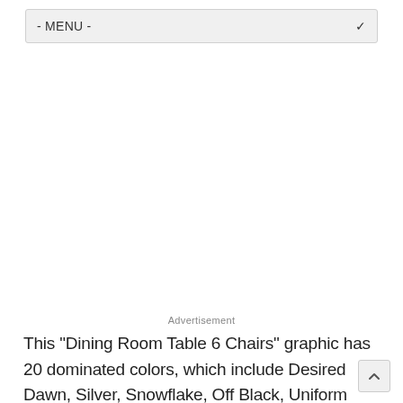- MENU -
Advertisement
This "Dining Room Table 6 Chairs" graphic has 20 dominated colors, which include Desired Dawn, Silver, Snowflake, Off Black, Uniform Grey, Tin, Westchester Grey, Kettleman, Pig Iron, Thamar Black, White, Ivory, Honeydew, Limone, Papaya Yellow Green, Wool